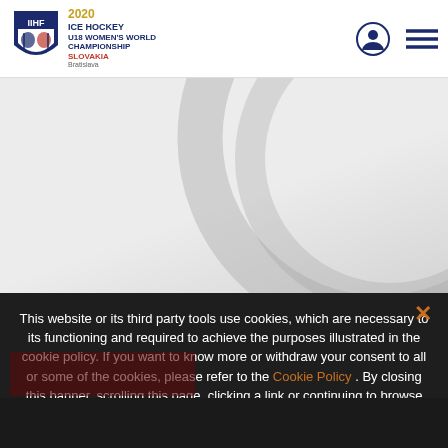2020 ICE HOCKEY U18 WOMEN'S WORLD CHAMPIONSHIP SLOVAKIA Bratislava
[Figure (photo): Hero banner area with light grey gradient background and a large circular arc decorative element on the right side]
This website or its third party tools use cookies, which are necessary to its functioning and required to achieve the purposes illustrated in the cookie policy. If you want to know more or withdraw your consent to all or some of the cookies, please refer to the Cookie Policy . By closing this banner, scrolling this page, clicking a link or continuing to browse otherwise, you agree to the use of cookies.
Russia convincingly